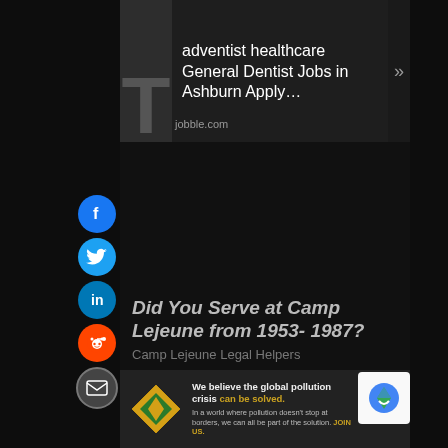[Figure (screenshot): Advertisement for adventist healthcare General Dentist Jobs in Ashburn with thumbnail image and jobble.com source URL and arrow]
[Figure (infographic): Social media share buttons: Facebook (blue circle), Twitter (blue circle), LinkedIn (blue circle), Reddit (orange circle), Email (grey circle)]
[Figure (screenshot): Advertisement: Did You Serve at Camp Lejeune from 1953-1987? Camp Lejeune Legal Helpers]
[Figure (screenshot): Pure Earth banner advertisement: We believe the global pollution crisis can be solved. In a world where pollution doesn't stop at borders, we can all be part of the solution. JOIN US. Pure Earth logo.]
[Figure (screenshot): reCAPTCHA logo in bottom right corner]